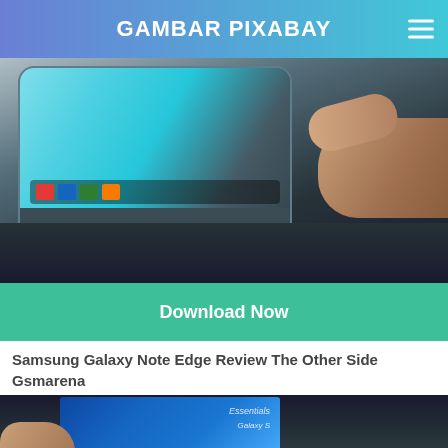GAMBAR PIXABAY
[Figure (photo): Close-up photo of a Samsung Galaxy Note Edge smartphone being held by a hand on a dark surface, showing the curved edge display with app icons]
Download Now
Samsung Galaxy Note Edge Review The Other Side Gsmarena
[Figure (photo): Partial photo of a Samsung smartphone with a blue screen showing text, being touched by a finger]